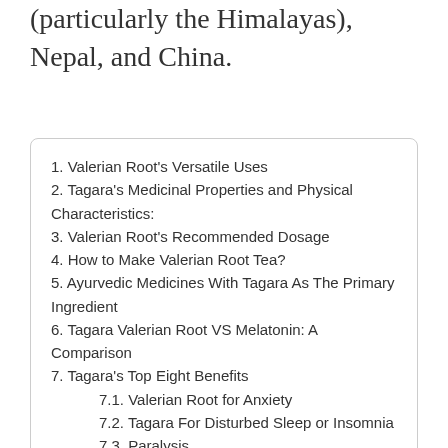(particularly the Himalayas), Nepal, and China.
1. Valerian Root's Versatile Uses
2. Tagara's Medicinal Properties and Physical Characteristics:
3. Valerian Root's Recommended Dosage
4. How to Make Valerian Root Tea?
5. Ayurvedic Medicines With Tagara As The Primary Ingredient
6. Tagara Valerian Root VS Melatonin: A Comparison
7. Tagara's Top Eight Benefits
7.1. Valerian Root for Anxiety
7.2. Tagara For Disturbed Sleep or Insomnia
7.3. Paralysis